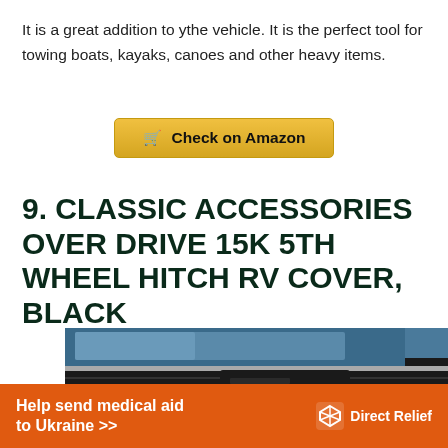It is a great addition to ythe vehicle. It is the perfect tool for towing boats, kayaks, canoes and other heavy items.
Check on Amazon
9. CLASSIC ACCESSORIES OVER DRIVE 15K 5TH WHEEL HITCH RV COVER, BLACK
[Figure (photo): Product photo of a black 5th wheel hitch RV cover installed in the bed of a blue truck]
Help send medical aid to Ukraine >> Direct Relief